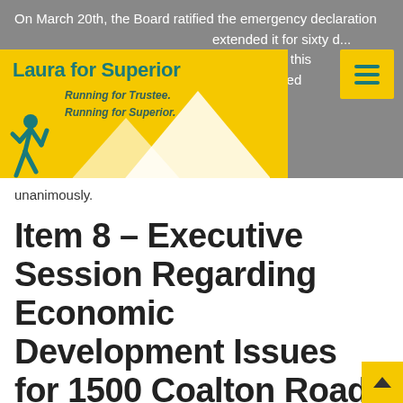On March 20th, the Board ratified the emergency declaration ... extended it for sixty d... dered extending this ... Board; this passed unanimously.
[Figure (logo): Laura for Superior campaign logo banner in yellow background with teal text 'Laura for Superior', italic text 'Running for Trustee. Running for Superior.', silhouette of a runner and mountain graphic]
Item 8 – Executive Session Regarding Economic Development Issues for 1500 Coalton Road, Resolute Property, Town 15, Downtown Superior